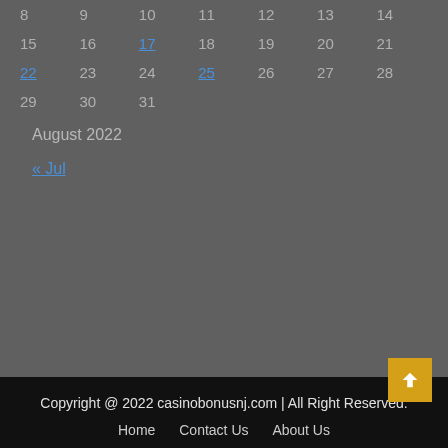| 8 | 9 | 10 | 11 | 12 | 13 | 14 |
| 15 | 16 | 17 | 18 | 19 | 20 | 21 |
| 22 | 23 | 24 | 25 | 26 | 27 | 28 |
| 29 | 30 | 31 |  |  |  |  |
August 2022
« Jul
Copyright @ 2022 casinobonusnj.com | All Rights Reserved.
Home   Contact Us   About Us